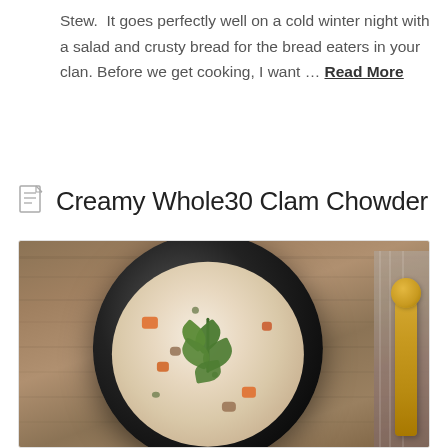Stew.  It goes perfectly well on a cold winter night with a salad and crusty bread for the bread eaters in your clan. Before we get cooking, I want ... Read More
Creamy Whole30 Clam Chowder
[Figure (photo): A black bowl filled with creamy clam chowder garnished with fresh herbs, placed on a rustic wooden table next to a folded grey cloth napkin and a gold spoon.]